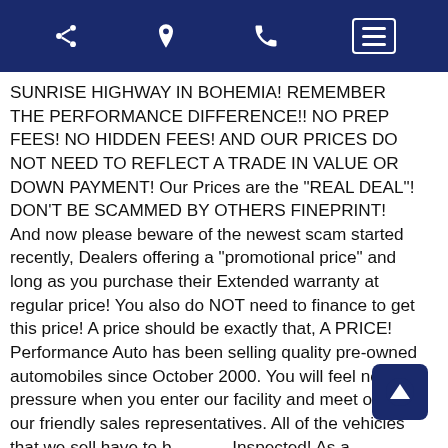[Navigation bar with share, location, phone, and menu icons]
SUNRISE HIGHWAY IN BOHEMIA! REMEMBER THE PERFORMANCE DIFFERENCE!! NO PREP FEES! NO HIDDEN FEES! AND OUR PRICES DO NOT NEED TO REFLECT A TRADE IN VALUE OR DOWN PAYMENT! Our Prices are the "REAL DEAL"! DON'T BE SCAMMED BY OTHERS FINEPRINT! And now please beware of the newest scam started recently, Dealers offering a "promotional price" and long as you purchase their Extended warranty at regular price! You also do NOT need to finance to get this price! A price should be exactly that, A PRICE! Performance Auto has been selling quality pre-owned automobiles since October 2000. You will feel no pressure when you enter our facility and meet one of our friendly sales representatives. All of the vehicles that we sell have to be Inspected! As a Licensed New York State Dealer (Facility #7095633), we are required to provide you with a Clear Lien Free Title. As a Certified Plate program dealer, we also have the ability to issue new license plates or transfer your existing plates to your new vehicle. Please be aware of other "so called